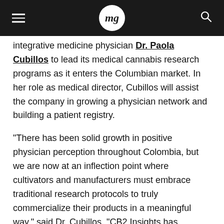mg
integrative medicine physician Dr. Paola Cubillos to lead its medical cannabis research programs as it enters the Columbian market. In her role as medical director, Cubillos will assist the company in growing a physician network and building a patient registry.
“There has been solid growth in positive physician perception throughout Colombia, but we are now at an inflection point where cultivators and manufacturers must embrace traditional research protocols to truly commercialize their products in a meaningful way,” said Dr. Cubillos. “CB2 Insights has become the go-to name for cannabis-focused research programs in the U.S., Canada, and the United Kingdom, and I’m excited to bring that experience to the Colombian market.”